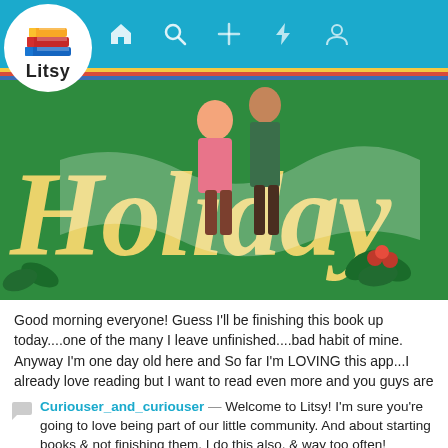Litsy app navigation bar
[Figure (screenshot): Book cover image showing 'Holiday' text in yellow script lettering on a green background with illustrated figures and holly berries]
Good morning everyone! Guess I'll be finishing this book up today....one of the many I leave unfinished....bad habit of mine. Anyway I'm one day old here and So far I'm LOVING this app...I already love reading but I want to read even more and you guys are already inspiring me to do just that, so I just want to say a big hello to all of you 📚📚📚. #newbie
Curiouser_and_curiouser — Welcome to Litsy! I'm sure you're going to love being part of our little community. And about starting books & not finishing them, I do this also, & way too often!